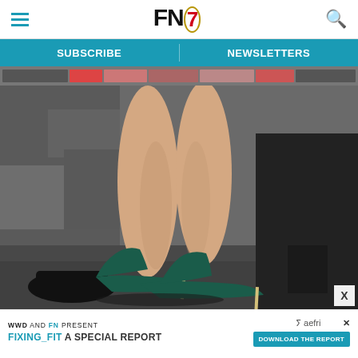FN7 - Footwear News website header with hamburger menu and search icon
SUBSCRIBE   NEWSLETTERS
[Figure (photo): Close-up photograph of a person's legs wearing dark teal/green pointed-toe high heel pumps with slim gold stiletto heels, standing on a stone or concrete surface. Another person in black shoes is visible in the background.]
WWD AND FN PRESENT  FIXING_FIT A SPECIAL REPORT  DOWNLOAD THE REPORT